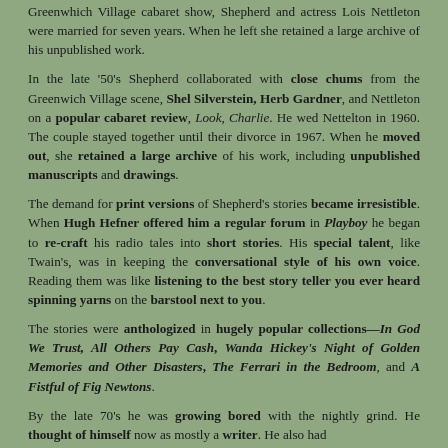Greenwhich Village cabaret show, Shepherd and actress Lois Nettleton were married for seven years. When he left she retained a large archive of his unpublished work.
In the late '50's Shepherd collaborated with close chums from the Greenwich Village scene, Shel Silverstein, Herb Gardner, and Nettleton on a popular cabaret review, Look, Charlie. He wed Nettelton in 1960. The couple stayed together until their divorce in 1967. When he moved out, she retained a large archive of his work, including unpublished manuscripts and drawings.
The demand for print versions of Shepherd's stories became irresistible. When Hugh Hefner offered him a regular forum in Playboy he began to re-craft his radio tales into short stories. His special talent, like Twain's, was in keeping the conversational style of his own voice. Reading them was like listening to the best story teller you ever heard spinning yarns on the barstool next to you.
The stories were anthologized in hugely popular collections—In God We Trust, All Others Pay Cash, Wanda Hickey's Night of Golden Memories and Other Disasters, The Ferrari in the Bedroom, and A Fistful of Fig Newtons.
By the late 70's he was growing bored with the nightly grind. He thought of himself now as mostly a writer. He also had